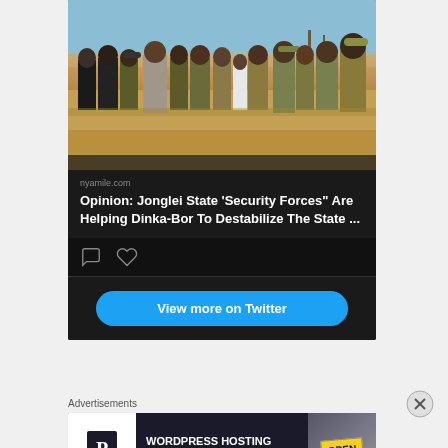[Figure (photo): Group of people including military personnel and officials standing outdoors on a dusty ground with blue sky background]
nyamile.com
Opinion: Jonglei State 'Security Forces" Are Helping Dinka-Bor To Destabilize The State ...
[Figure (other): Social media card action icons: comment bubble and heart/like icons]
View more on Twitter
Advertisements
[Figure (other): Advertisement banner: WordPress hosting with P logo on left, text WORDPRESS HOSTING THAT MEANS BUSINESS. in center, OPEN sign image on right]